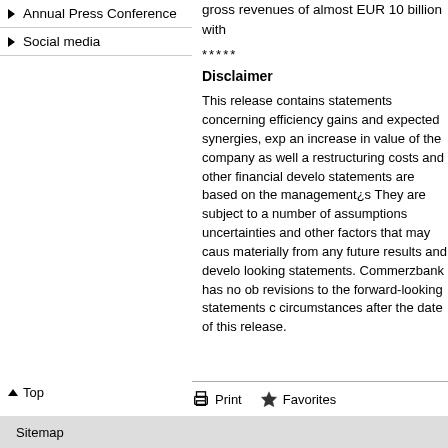Annual Press Conference
Social media
gross revenues of almost EUR 10 billion with
*****
Disclaimer
This release contains statements concerning efficiency gains and expected synergies, exp an increase in value of the company as well a restructuring costs and other financial develo statements are based on the management¿s They are subject to a number of assumptions uncertainties and other factors that may caus materially from any future results and develo looking statements. Commerzbank has no ob revisions to the forward-looking statements c circumstances after the date of this release.
▲ Top
🖶 Print   ★ Favorites
Sitemap